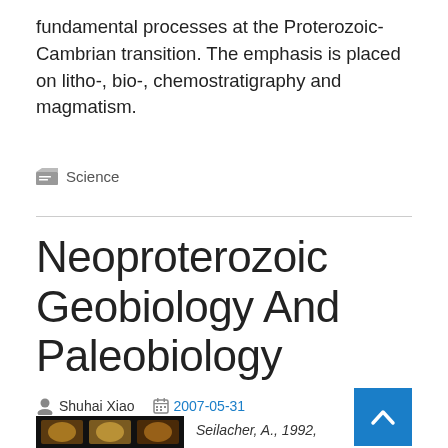fundamental processes at the Proterozoic-Cambrian transition. The emphasis is placed on litho-, bio-, chemostratigraphy and magmatism.
Science
Neoproterozoic Geobiology And Paleobiology
Shuhai Xiao  2007-05-31
Seilacher, A., 1992,